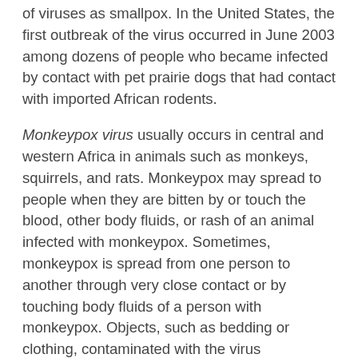of viruses as smallpox. In the United States, the first outbreak of the virus occurred in June 2003 among dozens of people who became infected by contact with pet prairie dogs that had contact with imported African rodents.
Monkeypox virus usually occurs in central and western Africa in animals such as monkeys, squirrels, and rats. Monkeypox may spread to people when they are bitten by or touch the blood, other body fluids, or rash of an animal infected with monkeypox. Sometimes, monkeypox is spread from one person to another through very close contact or by touching body fluids of a person with monkeypox. Objects, such as bedding or clothing, contaminated with the virus may also spread monkeypox.
Symptoms of monkeypox in animals may include